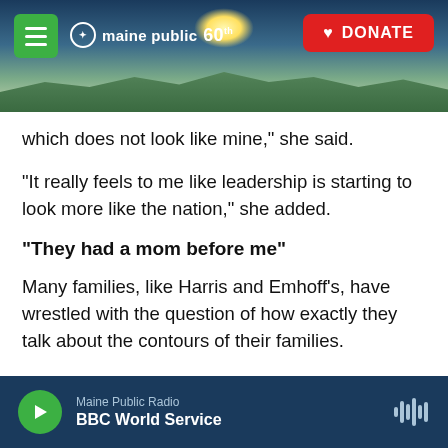[Figure (screenshot): Maine Public 60th anniversary website header with landscape/sunset background photo, hamburger menu button (green), Maine Public 60 logo, and red DONATE button]
which does not look like mine," she said.
"It really feels to me like leadership is starting to look more like the nation," she added.
"They had a mom before me"
Many families, like Harris and Emhoff's, have wrestled with the question of how exactly they talk about the contours of their families.
"I never wanted to come into this house with the whole stigma of 'step,' " said Erin Padilla, who calls her husband's children her "bonus kids." She related
Maine Public Radio | BBC World Service